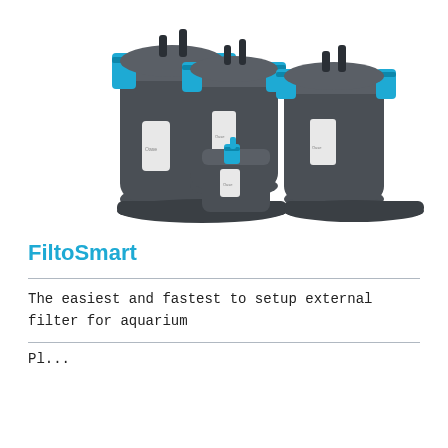[Figure (photo): Four Oase FiltoSmart external aquarium filters of different sizes arranged together, with dark grey bodies and blue locking clips/handles.]
FiltoSmart
The easiest and fastest to setup external filter for aquarium
Please check with is size t...